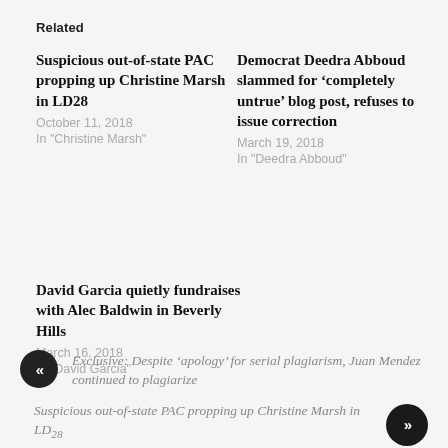Related
Suspicious out-of-state PAC propping up Christine Marsh in LD28
October 11, 2018
In "Christine Marsh"
Democrat Deedra Abboud slammed for ‘completely untrue’ blog post, refuses to issue correction
March 19, 2018
In "Deedra Abboud"
David Garcia quietly fundraises with Alec Baldwin in Beverly Hills
March 16, 2018
In "David Garcia"
Exclusive: Despite ‘apology’ for serial plagiarism, Juan Mendez continued to plagiarize
Suspicious out-of-state PAC propping up Christine Marsh in LD28